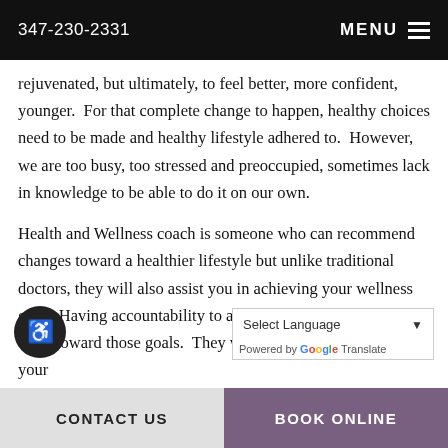347-230-2331   MENU
rejuvenated, but ultimately, to feel better, more confident, younger.  For that complete change to happen, healthy choices need to be made and healthy lifestyle adhered to.  However, we are too busy, too stressed and preoccupied, sometimes lack in knowledge to be able to do it on our own.

Health and Wellness coach is someone who can recommend changes toward a healthier lifestyle but unlike traditional doctors, they will also assist you in achieving your wellness goal.  Having accountability to a health coach is important to work toward those goals.  They will desire, guiding you on your
CONTACT US   BOOK ONLINE